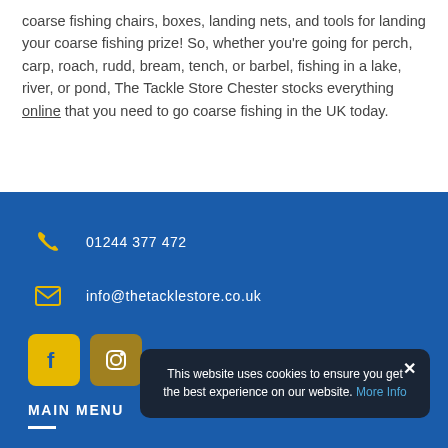coarse fishing chairs, boxes, landing nets, and tools for landing your coarse fishing prize! So, whether you're going for perch, carp, roach, rudd, bream, tench, or barbel, fishing in a lake, river, or pond, The Tackle Store Chester stocks everything online that you need to go coarse fishing in the UK today.
01244 377 472
info@thetacklestore.co.uk
[Figure (logo): Yellow Facebook icon button and yellow/gold Instagram icon button on blue background]
MAIN MENU
This website uses cookies to ensure you get the best experience on our website. More Info